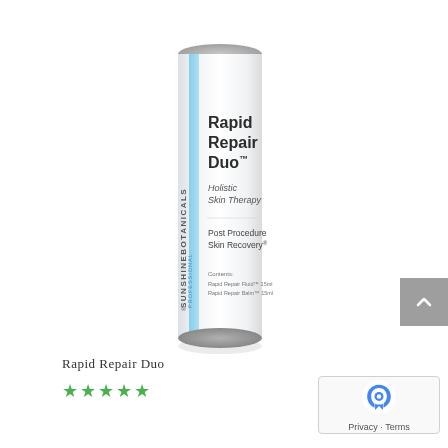[Figure (photo): White cylindrical tube packaging for Sunshine Botanicals Rapid Repair Duo, Holistic Skin Therapy, Post Procedure Skin Recovery product. The tube has a light blue vertical stripe and gray brand text running vertically. Product name text visible on front.]
Rapid Repair Duo
★★★★★